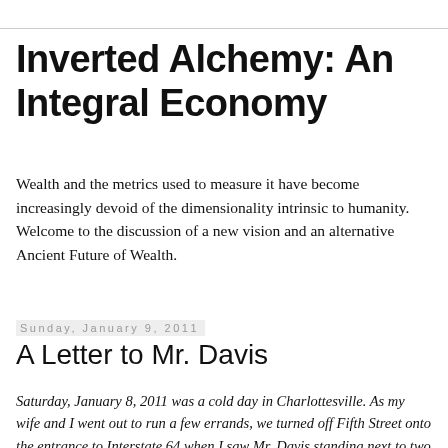Inverted Alchemy: An Integral Economy
Wealth and the metrics used to measure it have become increasingly devoid of the dimensionality intrinsic to humanity. Welcome to the discussion of a new vision and an alternative Ancient Future of Wealth.
Sunday, January 9, 2011
A Letter to Mr. Davis
Saturday, January 8, 2011 was a cold day in Charlottesville. As my wife and I went out to run a few errands, we turned off Fifth Street onto the entrance to Interstate 64 when I saw Mr. Davis standing next to two wheeled duffle bags on the shoulder of the on-ramp. We stopped to ask him where he was headed and he replied that he needed to get across the mountain to Interstate 81 where he could meet up with